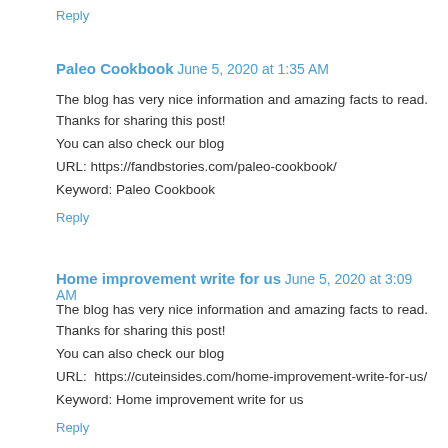Reply
Paleo Cookbook  June 5, 2020 at 1:35 AM
The blog has very nice information and amazing facts to read. Thanks for sharing this post!
You can also check our blog
URL: https://fandbstories.com/paleo-cookbook/
Keyword: Paleo Cookbook
Reply
Home improvement write for us  June 5, 2020 at 3:09 AM
The blog has very nice information and amazing facts to read. Thanks for sharing this post!
You can also check our blog
URL:  https://cuteinsides.com/home-improvement-write-for-us/
Keyword: Home improvement write for us
Reply